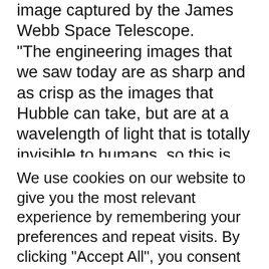image captured by the James Webb Space Telescope.
“The engineering images that we saw today are as sharp and as crisp as the images that Hubble can take, but are at a wavelength of light that is totally invisible to humans, so this is making the invisible universe snapping into very, very sharp focus ,” said Jane Rigby, Webb operations project scientist at NASA’s Goddard Space Flight Center in
We use cookies on our website to give you the most relevant experience by remembering your preferences and repeat visits. By clicking “Accept All”, you consent to the use of ALL the cookies. However, you may visit "Cookie Settings" to provide a controlled consent.
Cookie Settings
Accept All